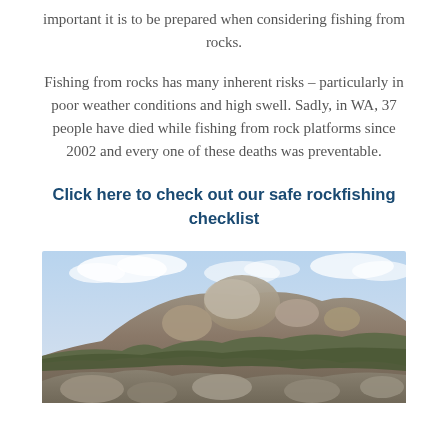important it is to be prepared when considering fishing from rocks.
Fishing from rocks has many inherent risks – particularly in poor weather conditions and high swell. Sadly, in WA, 37 people have died while fishing from rock platforms since 2002 and every one of these deaths was preventable.
Click here to check out our safe rockfishing checklist
[Figure (photo): Photograph of a rocky hillside with large granite boulders, scrubby vegetation, and a partly cloudy sky in the background. Rock fishing location in Western Australia.]